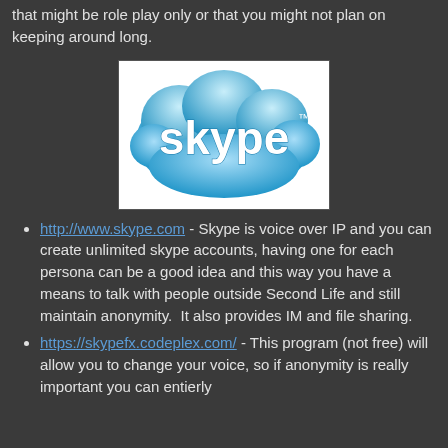that might be role play only or that you might not plan on keeping around long.
[Figure (logo): Skype logo — white 'skype' text on a blue cloud-shaped background with a trademark symbol]
http://www.skype.com - Skype is voice over IP and you can create unlimited skype accounts, having one for each persona can be a good idea and this way you have a means to talk with people outside Second Life and still maintain anonymity.  It also provides IM and file sharing.
https://skypefx.codeplex.com/ - This program (not free) will allow you to change your voice, so if anonymity is really important you can entierly